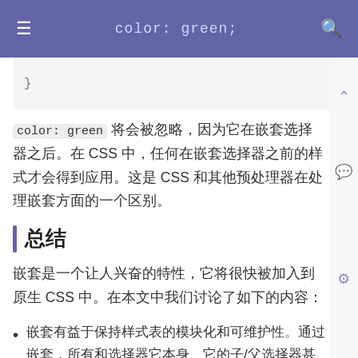≡  color: green;  }  🔍
color: green 将会被忽略，因为它在嵌套选择器之后。在 CSS 中，任何在嵌套选择器之前的样式才会得到应用。这是 CSS 和其他预处理器在处理嵌套方面的一个区别。
总结
嵌套是一个让人兴奋的特性，它将很快被加入到原生 CSS 中。在本文中我们讨论了如下的内容：
嵌套有益于保持样式表的模块化和可维护性。通过嵌套，所有和选择器它本身、它的子/父选择器甚至媒体查询相关的样式都可以放在同一个地方